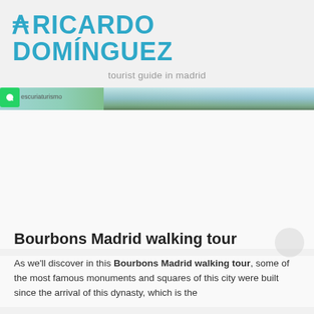RICARDO DOMÍNGUEZ
tourist guide in madrid
[Figure (photo): Narrow cropped hero banner photo showing trees and a light blue sky, with a WhatsApp button on the left edge and partially visible website text.]
Bourbons Madrid walking tour
As we'll discover in this Bourbons Madrid walking tour, some of the most famous monuments and squares of this city were built since the arrival of this dynasty, which is the